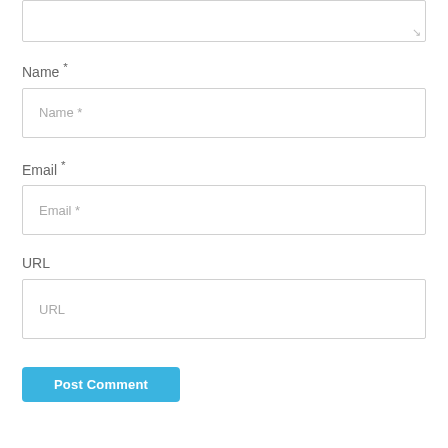[Figure (screenshot): Textarea input box at the top of the page, partially visible, with a resize handle at the bottom-right corner]
Name *
[Figure (screenshot): Name input field with placeholder text 'Name *']
Email *
[Figure (screenshot): Email input field with placeholder text 'Email *']
URL
[Figure (screenshot): URL input field with placeholder text 'URL']
Post Comment